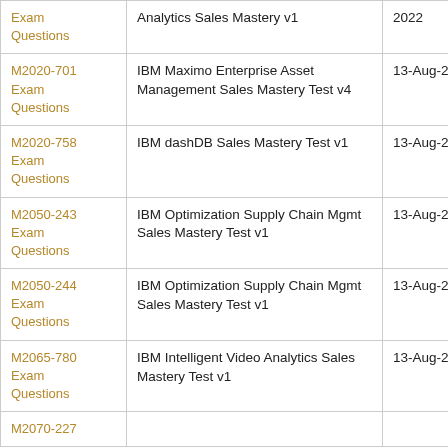| Exam Questions | Exam Title | Date |
| --- | --- | --- |
| Exam Questions | Analytics Sales Mastery v1 | 2022 |
| M2020-701 Exam Questions | IBM Maximo Enterprise Asset Management Sales Mastery Test v4 | 13-Aug-2022 |
| M2020-758 Exam Questions | IBM dashDB Sales Mastery Test v1 | 13-Aug-2022 |
| M2050-243 Exam Questions | IBM Optimization Supply Chain Mgmt Sales Mastery Test v1 | 13-Aug-2022 |
| M2050-244 Exam Questions | IBM Optimization Supply Chain Mgmt Sales Mastery Test v1 | 13-Aug-2022 |
| M2065-780 Exam Questions | IBM Intelligent Video Analytics Sales Mastery Test v1 | 13-Aug-2022 |
| M2070-227 |  |  |